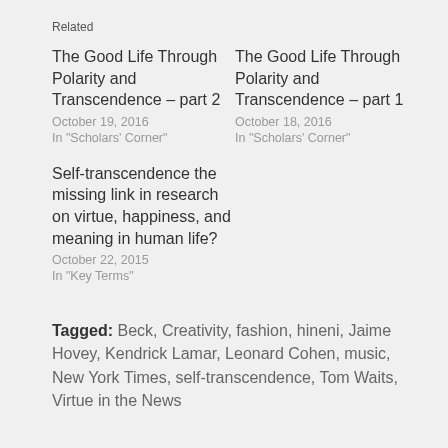Related
The Good Life Through Polarity and Transcendence – part 2
October 19, 2016
In "Scholars' Corner"
The Good Life Through Polarity and Transcendence – part 1
October 18, 2016
In "Scholars' Corner"
Self-transcendence the missing link in research on virtue, happiness, and meaning in human life?
October 22, 2015
In "Key Terms"
Tagged: Beck, Creativity, fashion, hineni, Jaime Hovey, Kendrick Lamar, Leonard Cohen, music, New York Times, self-transcendence, Tom Waits, Virtue in the News